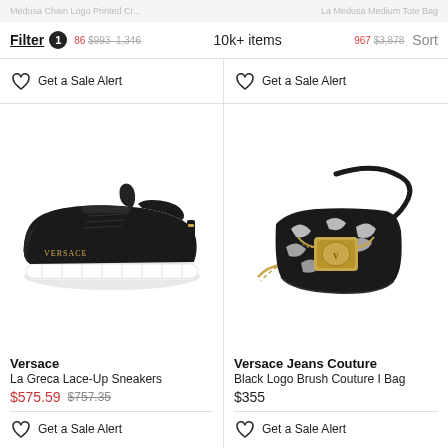Medusa Chain Logo Printed Cr...   La Medusa Medium Tote Bag
Filter 1   $786 $993–1,346   10k+ items   $967 $3,878   Sort
♡ Get a Sale Alert
♡ Get a Sale Alert
[Figure (photo): Black Versace La Greca platform lace-up sneaker with white sole on white background]
[Figure (photo): Versace Jeans Couture black and gold logo print handbag (Couture I Bag) with gold hardware and chain strap on white background]
Versace
La Greca Lace-Up Sneakers
$575.59 $757.35
Versace Jeans Couture
Black Logo Brush Couture I Bag
$355
♡ Get a Sale Alert
♡ Get a Sale Alert